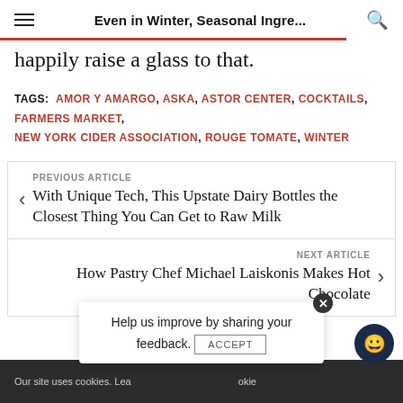Even in Winter, Seasonal Ingre...
happily raise a glass to that.
TAGS: AMOR Y AMARGO, ASKA, ASTOR CENTER, COCKTAILS, FARMERS MARKET, NEW YORK CIDER ASSOCIATION, ROUGE TOMATE, WINTER
PREVIOUS ARTICLE
With Unique Tech, This Upstate Dairy Bottles the Closest Thing You Can Get to Raw Milk
NEXT ARTICLE
How Pastry Chef Michael Laiskonis Makes Hot Chocolate